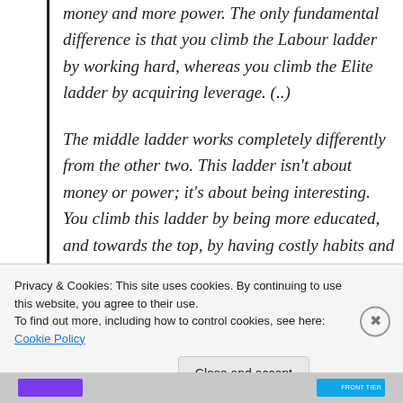money and more power. The only fundamental difference is that you climb the Labour ladder by working hard, whereas you climb the Elite ladder by acquiring leverage. (..) The middle ladder works completely differently from the other two. This ladder isn't about money or power; it's about being interesting. You climb this ladder by being more educated, and towards the top, by having costly habits and virtues.
Privacy & Cookies: This site uses cookies. By continuing to use this website, you agree to their use. To find out more, including how to control cookies, see here: Cookie Policy